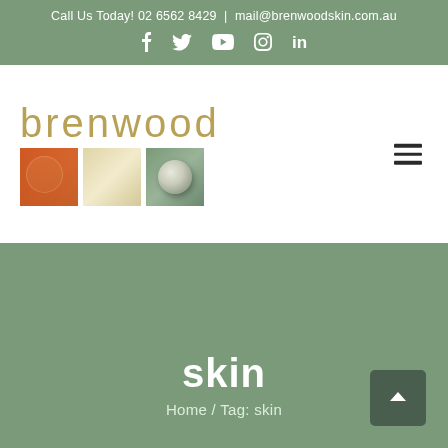Call Us Today! 02 6562 8429 | mail@brenwoodskin.com.au
[Figure (logo): Brenwood skin care logo with text 'brenwood' in gold/tan letters and three colored squares below: orange, cream, and green with a round knob]
skin
Home / Tag: skin